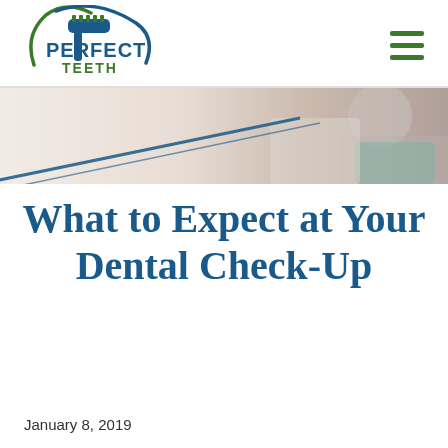[Figure (logo): Perfect Teeth dental practice logo with toothbrush and tooth icon, green and blue colors]
[Figure (photo): Hero banner showing a dental professional in blue/teal gloves working, light background with diagonal blue line overlay]
What to Expect at Your Dental Check-Up
January 8, 2019